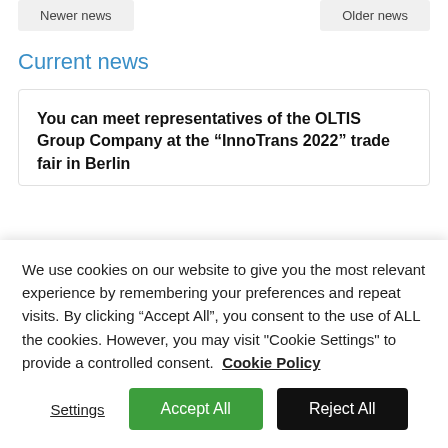Newer news | Older news
Current news
You can meet representatives of the OLTIS Group Company at the “InnoTrans 2022” trade fair in Berlin
We use cookies on our website to give you the most relevant experience by remembering your preferences and repeat visits. By clicking “Accept All”, you consent to the use of ALL the cookies. However, you may visit "Cookie Settings" to provide a controlled consent. Cookie Policy
Settings | Accept All | Reject All